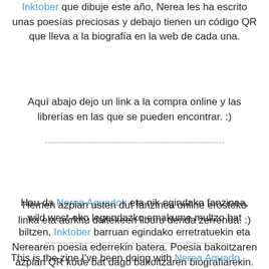Inktober que dibuje este año, Nerea les ha escrito unas poesías preciosas y debajo tienen un código QR que lleva a la biografía en la web de cada una.
Aquí abajo dejo un link a la compra online y las librerías en las que se pueden encontrar. :)
------------------------------------------------------------
Hau da Nerea Aguadok eta nik egindako fanzinea, wild west-eko legendazko emakume multzo bat biltzen, Inktober barruan egindako erretratuekin eta Nerearen poesia ederrekin batera. Poesia bakoitzaren azpian QR kode bat dago bakoitzaren biografiarekin.
Hemen azpian usten dut fanzinea online erosteko linka eta aurkitu daitekeen liburu denda zerrenda. :)
------------------------------------------------------------
This is the zine I've been doing with Nerea Aguado collecting some of the wild west legendary women I drawn for Inktober